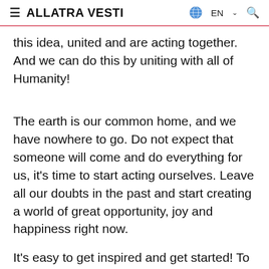≡ ALLATRA VESTI  EN  🔍
this idea, united and are acting together. And we can do this by uniting with all of Humanity!
The earth is our common home, and we have nowhere to go. Do not expect that someone will come and do everything for us, it's time to start acting ourselves. Leave all our doubts in the past and start creating a world of great opportunity, joy and happiness right now.
It's easy to get inspired and get started! To do this, you need to direct your attention to the idea of building a Creative Society. After all, the power of attention is a huge vital creative potential that a